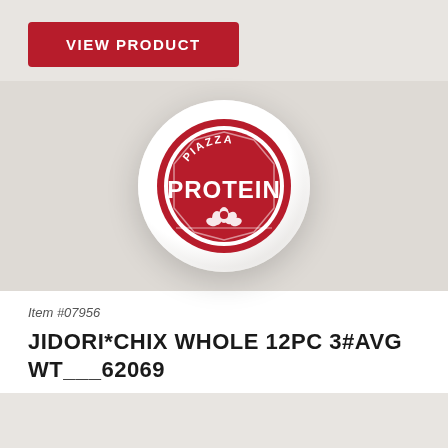[Figure (logo): Red button labeled VIEW PRODUCT]
[Figure (logo): Piazza Protein circular logo — red circle with white text PIAZZA on top arc, PROTEIN large in center, floral decoration at bottom, set inside a white glossy circular button on gray background]
Item #07956
JIDORI*CHIX WHOLE 12PC 3#AVG WT___62069